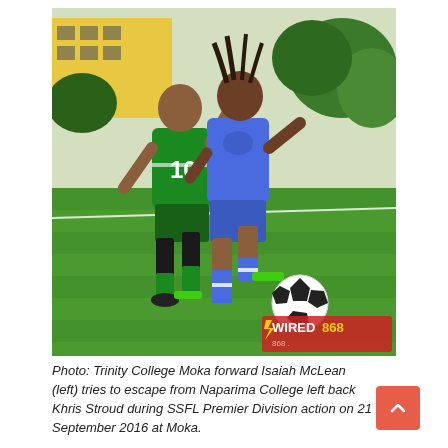[Figure (photo): Two soccer players competing for the ball on a green grass field. Player on left wears green jersey number 10 (Trinity College Moka), player on right wears blue jersey (Naparima College). A soccer ball is visible in the lower right. A yellow building and trees are in the background. Wired868 watermark logo in bottom right corner.]
Photo: Trinity College Moka forward Isaiah McLean (left) tries to escape from Naparima College left back Khris Stroud during SSFL Premier Division action on 21 September 2016 at Moka.